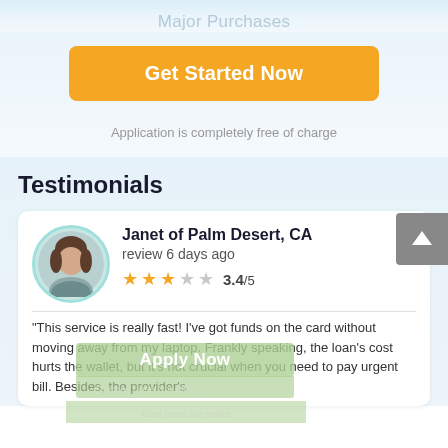Major Purchases
Get Started Now
Application is completely free of charge
Testimonials
Janet of Palm Desert, CA
review 6 days ago
3.4/5
Apply Now
Applying does Not affect your credit score!
Cost hurts the wallet
"This service is really fast! I've got funds on the card without moving away from my laptop. Frankly speaking, the loan's cost hurts the wallet, but it's not crucial when you need to pay urgent bill. Besides, the provider's